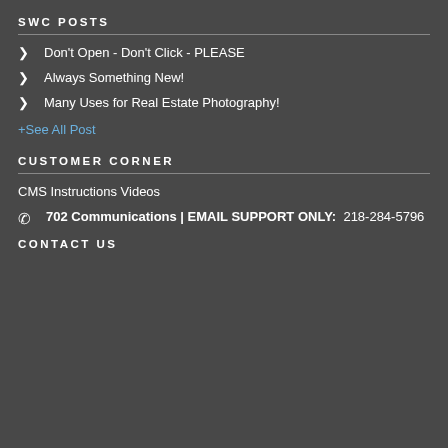SWC POSTS
Don't Open - Don't Click - PLEASE
Always Something New!
Many Uses for Real Estate Photography!
+See All Post
CUSTOMER CORNER
CMS Instructions Videos
702 Communications | EMAIL SUPPORT ONLY: 218-284-5796
CONTACT US